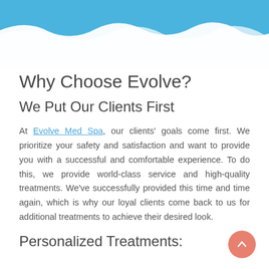[Figure (illustration): Blue brush-stroke banner header across the top of the page]
Why Choose Evolve?
We Put Our Clients First
At Evolve Med Spa, our clients' goals come first. We prioritize your safety and satisfaction and want to provide you with a successful and comfortable experience. To do this, we provide world-class service and high-quality treatments. We've successfully provided this time and time again, which is why our loyal clients come back to us for additional treatments to achieve their desired look.
Personalized Treatments: